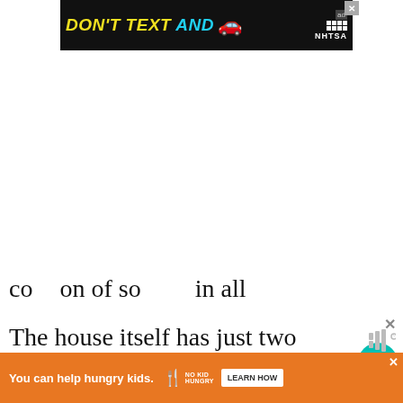[Figure (screenshot): Top advertisement banner: dark background with 'DON'T TEXT AND' in yellow/cyan bold text with a red car emoji and NHTSA logo with ad label and close button]
The house itself has just two rooms – large ones used as bedrooms, plus a hallway area that we're actually
co... on of so... in all
[Figure (screenshot): Bottom advertisement banner: orange background with 'You can help hungry kids.' text, No Kid Hungry logo, and LEARN HOW button with close X]